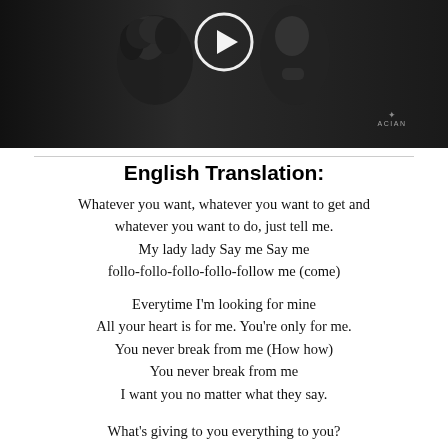[Figure (photo): Video thumbnail showing two people in dark clothing, a play button circle overlay at the top center, and an ACIAN watermark logo at the bottom right]
English Translation:
Whatever you want, whatever you want to get and whatever you want to do, just tell me.
My lady lady Say me Say me
follo-follo-follo-follo-follow me (come)
Everytime I'm looking for mine
All your heart is for me. You're only for me.
You never break from me (How how)
You never break from me
I want you no matter what they say.
What's giving to you everything to you?